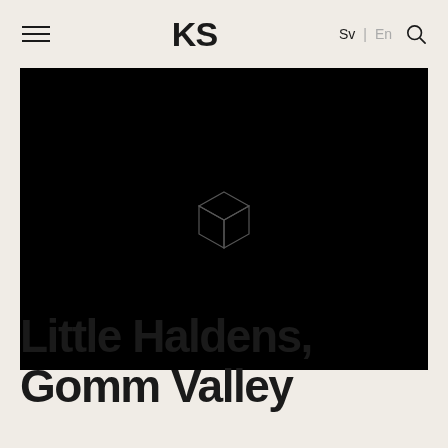KS  Sv | En
[Figure (illustration): Black rectangle image placeholder with a small isometric house/cube outline icon in the center, drawn in thin light gray lines on black background.]
Little Haldens, Gomm Valley